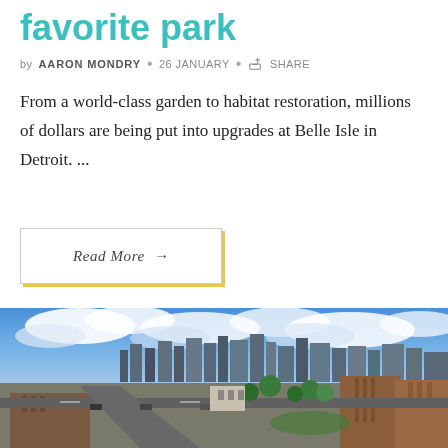favorite park
by AARON MONDRY • 26 JANUARY • SHARE
From a world-class garden to habitat restoration, millions of dollars are being put into upgrades at Belle Isle in Detroit. ...
Read More →
[Figure (photo): Aerial view of Detroit city skyline with urban streets, brick buildings, green trees, and blue sky with clouds.]